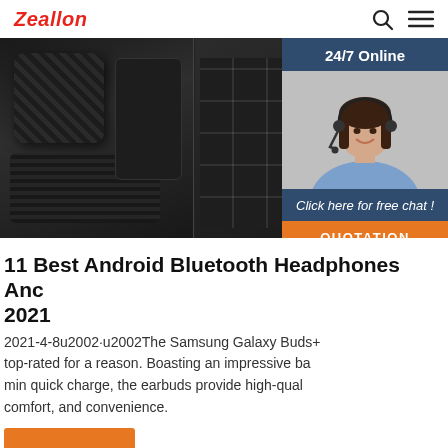Zeallon
[Figure (photo): Hero banner with two dark images side by side: left shows a rugged portable Bluetooth speaker, right shows a dark keyboard/laptop surface]
[Figure (photo): Sidebar widget showing a smiling female customer service representative wearing a headset, with '24/7 Online' header, 'Click here for free chat!' text, and an orange QUOTATION button]
11 Best Android Bluetooth Headphones And 2021
2021-4-8u2002·u2002The Samsung Galaxy Buds+ top-rated for a reason. Boasting an impressive ba min quick charge, the earbuds provide high-qual comfort, and convenience.
Get Price